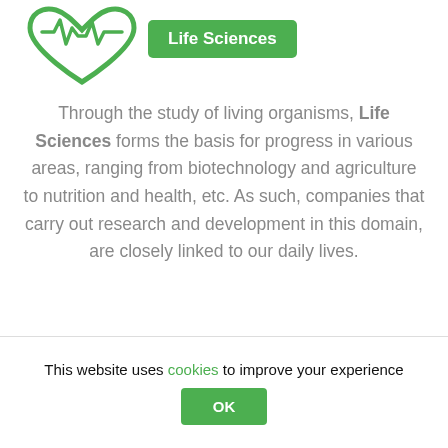[Figure (logo): Green heart shape with EKG/heartbeat line inside, representing life sciences logo]
Life Sciences
Through the study of living organisms, Life Sciences forms the basis for progress in various areas, ranging from biotechnology and agriculture to nutrition and health, etc. As such, companies that carry out research and development in this domain, are closely linked to our daily lives.
By investing in Life Sciences, Korys strives to
This website uses cookies to improve your experience